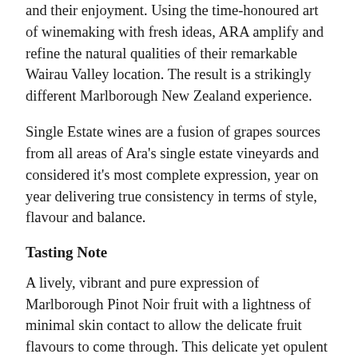and their enjoyment. Using the time-honoured art of winemaking with fresh ideas, ARA amplify and refine the natural qualities of their remarkable Wairau Valley location. The result is a strikingly different Marlborough New Zealand experience.
Single Estate wines are a fusion of grapes sources from all areas of Ara's single estate vineyards and considered it's most complete expression, year on year delivering true consistency in terms of style, flavour and balance.
Tasting Note
A lively, vibrant and pure expression of Marlborough Pinot Noir fruit with a lightness of minimal skin contact to allow the delicate fruit flavours to come through. This delicate yet opulent Pinot Noir Rosé delivers lush strawberyy, cream and ripe raspberry flavours that linger on the palate and are beautifully offset by a long finish. Ara Single Estate Pinot Noir Rosé is off-dry at 5.7grrms per litre, beautifully vibrant with fruit intensity